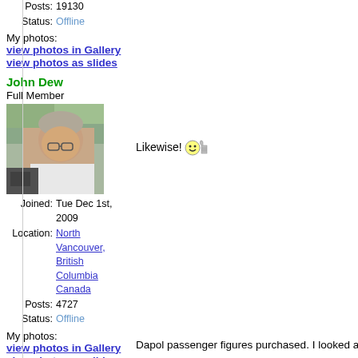Posts: 19130
Status: Offline
My photos:
view photos in Gallery
view photos as slides
John Dew
Full Member
[Figure (photo): Profile photo of John Dew, an older man with glasses and grey hair wearing a white shirt, seated outdoors on what appears to be a boat]
Likewise!
Joined: Tue Dec 1st, 2009
Location: North Vancouver, British Columbia Canada
Posts: 4727
Status: Offline
My photos:
view photos in Gallery
view photos as slides
Garyw1960
Former Member
Dapol passenger figures purchased. I looked at the bachma